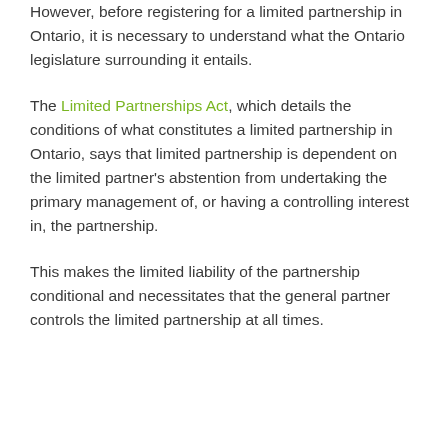We've covered the benefits of a limited partnership. However, before registering for a limited partnership in Ontario, it is necessary to understand what the Ontario legislature surrounding it entails.
The Limited Partnerships Act, which details the conditions of what constitutes a limited partnership in Ontario, says that limited partnership is dependent on the limited partner's abstention from undertaking the primary management of, or having a controlling interest in, the partnership.
This makes the limited liability of the partnership conditional and necessitates that the general partner controls the limited partnership at all times.